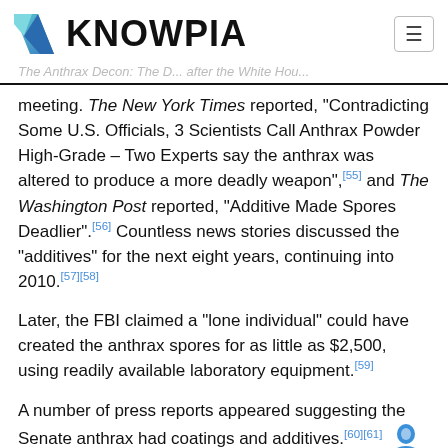KNOWPIA
meeting. The New York Times reported, "Contradicting Some U.S. Officials, 3 Scientists Call Anthrax Powder High-Grade – Two Experts say the anthrax was altered to produce a more deadly weapon",[55] and The Washington Post reported, "Additive Made Spores Deadlier".[56] Countless news stories discussed the "additives" for the next eight years, continuing into 2010.[57][58]
Later, the FBI claimed a "lone individual" could have created the anthrax spores for as little as $2,500, using readily available laboratory equipment.[59]
A number of press reports appeared suggesting the Senate anthrax had coatings and additives.[60][61] Newsweek reported the anthrax sent to Senator